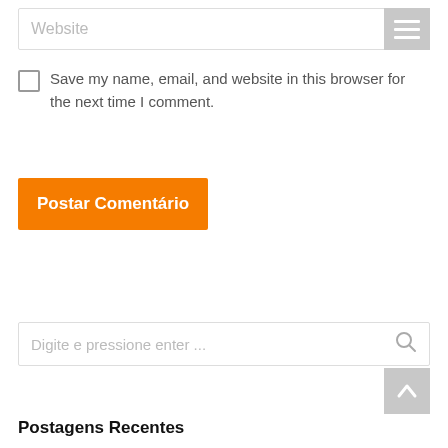[Figure (screenshot): Website URL input field with placeholder text 'Website']
[Figure (screenshot): Hamburger menu icon (three horizontal lines) on grey background]
Save my name, email, and website in this browser for the next time I comment.
[Figure (screenshot): Orange button labeled 'Postar Comentário']
[Figure (screenshot): Search input field with placeholder 'Digite e pressione enter ...' and search icon]
[Figure (screenshot): Grey button with upward arrow icon]
Postagens Recentes